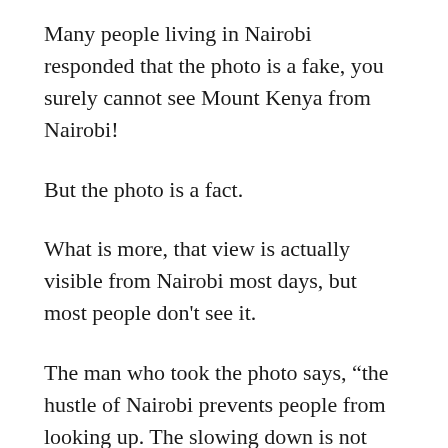Many people living in Nairobi responded that the photo is a fake, you surely cannot see Mount Kenya from Nairobi!
But the photo is a fact.
What is more, that view is actually visible from Nairobi most days, but most people don't see it.
The man who took the photo says, “the hustle of Nairobi prevents people from looking up. The slowing down is not there”. He said that maybe, the Covid-19 virus has slowed people down, and with less air pollution helped people to see more.